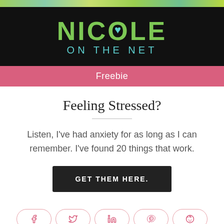[Figure (logo): Nicole On The Net logo on black background with green text and teal heart, followed by pink Freebie bar]
Feeling Stressed?
Listen, I've had anxiety for as long as I can remember. I've found 20 things that work.
GET THEM HERE.
[Figure (infographic): Social share buttons: Facebook, Twitter, LinkedIn, Pinterest, Reddit]